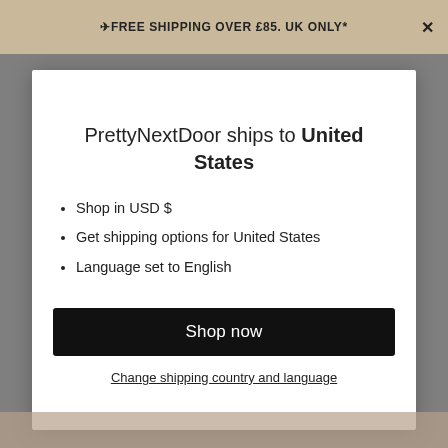✈FREE SHIPPING OVER £85. UK ONLY*
PrettyNextDoor ships to United States
Shop in USD $
Get shipping options for United States
Language set to English
Shop now
Change shipping country and language